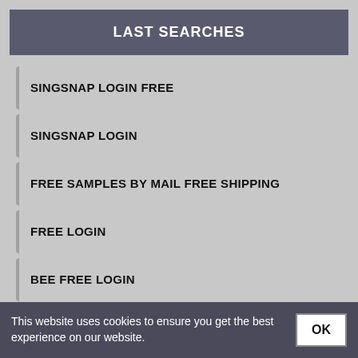LAST SEARCHES
SINGSNAP LOGIN FREE
SINGSNAP LOGIN
FREE SAMPLES BY MAIL FREE SHIPPING
FREE LOGIN
BEE FREE LOGIN
MY FREE CAMS LOGIN
This website uses cookies to ensure you get the best experience on our website.